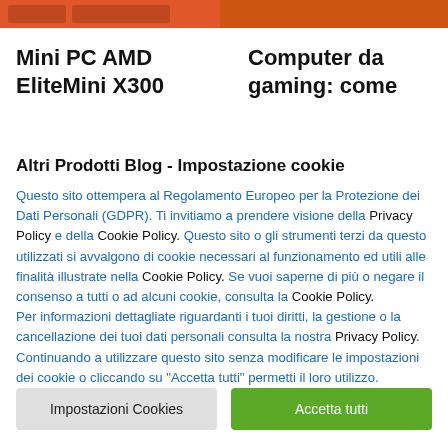[Figure (screenshot): Top banner with orange/red background showing two button elements on left side and an orange image on right side]
Mini PC AMD EliteMini X300
Computer da gaming: come
Altri Prodotti Blog - Impostazione cookie
Questo sito ottempera al Regolamento Europeo per la Protezione dei Dati Personali (GDPR). Ti invitiamo a prendere visione della Privacy Policy e della Cookie Policy. Questo sito o gli strumenti terzi da questo utilizzati si avvalgono di cookie necessari al funzionamento ed utili alle finalità illustrate nella Cookie Policy. Se vuoi saperne di più o negare il consenso a tutti o ad alcuni cookie, consulta la Cookie Policy.
Per informazioni dettagliate riguardanti i tuoi diritti, la gestione o la cancellazione dei tuoi dati personali consulta la nostra Privacy Policy. Continuando a utilizzare questo sito senza modificare le impostazioni dei cookie o cliccando su "Accetta tutti" permetti il loro utilizzo.
Impostazioni Cookies
Accetta tutti